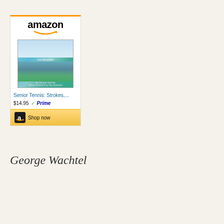[Figure (other): Amazon product widget showing 'Senior Tennis: Strokes,...' book priced at $14.95 with Prime badge and Shop now button]
George Wachtel
[Figure (photo): Outdoor photo of George Wachtel, an elderly man with gray/white hair, photographed outdoors with green trees in background]